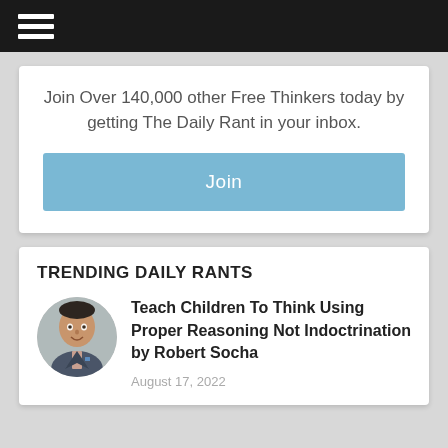Navigation bar with hamburger menu
Join Over 140,000 other Free Thinkers today by getting The Daily Rant in your inbox.
Join
TRENDING DAILY RANTS
[Figure (photo): Circular profile photo of a man in a suit with arms crossed]
Teach Children To Think Using Proper Reasoning Not Indoctrination by Robert Socha
August 17, 2022